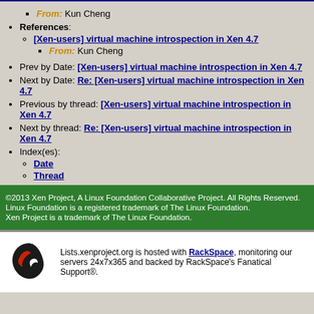From: Kun Cheng
References:
[Xen-users] virtual machine introspection in Xen 4.7 (link)
From: Kun Cheng
Prev by Date: [Xen-users] virtual machine introspection in Xen 4.7
Next by Date: Re: [Xen-users] virtual machine introspection in Xen 4.7
Previous by thread: [Xen-users] virtual machine introspection in Xen 4.7
Next by thread: Re: [Xen-users] virtual machine introspection in Xen 4.7
Index(es):
Date
Thread
©2013 Xen Project, A Linux Foundation Collaborative Project. All Rights Reserved. Linux Foundation is a registered trademark of The Linux Foundation. Xen Project is a trademark of The Linux Foundation.
Lists.xenproject.org is hosted with RackSpace, monitoring our servers 24x7x365 and backed by RackSpace's Fanatical Support®.